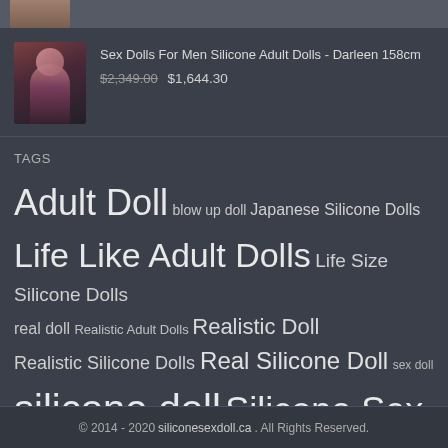[Figure (photo): Partial thumbnail image visible at top of page]
[Figure (photo): Product thumbnail image of a female doll with red hair]
Sex Dolls For Men Silicone Adult Dolls - Darleen 158cm $2,349.00 $1,644.30
TAGS
Adult Doll blow up doll Japanese Silicone Dolls Life Like Adult Dolls Life Size Silicone Dolls real doll Realistic Adult Dolls Realistic Doll Realistic Silicone Dolls Real Silicone Doll sex doll silicone doll Silicone Sex Doll
© 2014 - 2020 siliconesexdoll.ca . All Rights Reserved.